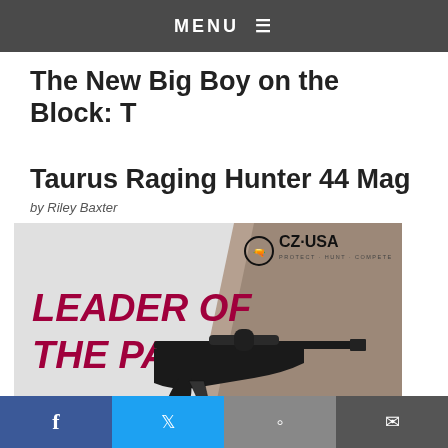MENU ≡
The New Big Boy on the Block: Taurus Raging Hunter 44 Mag
by Riley Baxter
[Figure (photo): CZ-USA advertisement featuring a CZ 600 ALPHA rifle with text 'LEADER OF THE PACK' in red/crimson bold font, CZ-USA logo top right, rifle displayed on gray/white gradient background with a scenic outdoor hunting background on the right side.]
Facebook share | Twitter share | Reddit share | Email share